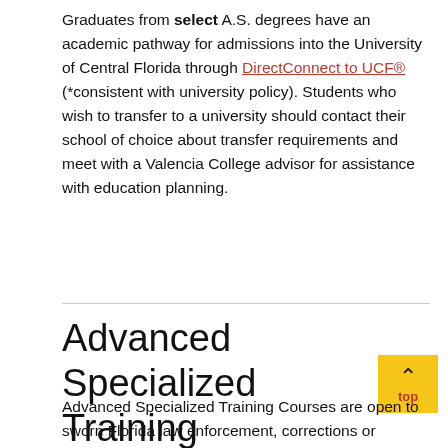Graduates from select A.S. degrees have an academic pathway for admissions into the University of Central Florida through DirectConnect to UCF® (*consistent with university policy). Students who wish to transfer to a university should contact their school of choice about transfer requirements and meet with a Valencia College advisor for assistance with education planning.
Advanced Specialized Training
Advanced Specialized Training Courses are open to sworn Florida law enforcement, corrections or